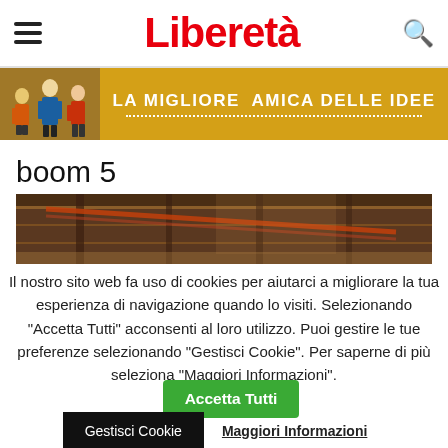Liberetà
[Figure (photo): Advertisement banner with yellow/gold background showing illustrated figures and the text LA MIGLIORE AMICA DELLE IDEE]
boom 5
[Figure (photo): Partial photo of what appears to be industrial or construction beams/girders, showing a dark interior structure]
Il nostro sito web fa uso di cookies per aiutarci a migliorare la tua esperienza di navigazione quando lo visiti. Selezionando "Accetta Tutti" acconsenti al loro utilizzo. Puoi gestire le tue preferenze selezionando "Gestisci Cookie". Per saperne di più seleziona "Maggiori Informazioni".
Accetta Tutti
Gestisci Cookie
Maggiori Informazioni